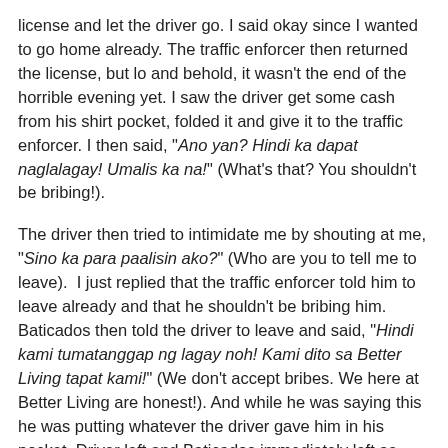license and let the driver go. I said okay since I wanted to go home already. The traffic enforcer then returned the license, but lo and behold, it wasn't the end of the horrible evening yet. I saw the driver get some cash from his shirt pocket, folded it and give it to the traffic enforcer. I then said, "Ano yan? Hindi ka dapat naglalagay! Umalis ka na!" (What's that? You shouldn't be bribing!).
The driver then tried to intimidate me by shouting at me, "Sino ka para paalisin ako?" (Who are you to tell me to leave).  I just replied that the traffic enforcer told him to leave already and that he shouldn't be bribing him. Baticados then told the driver to leave and said, "Hindi kami tumatanggap ng lagay noh! Kami dito sa Better Living tapat kami!" (We don't accept bribes. We here at Better Living are honest!). And while he was saying this he was putting whatever the driver gave him in his pocket. Driver left and Baticados immediately left as well.
We were left with the other female traffic enforcer who was then denying that the driver was trying to give her money. She assisted us to get on a tricycle. A few motors away I saw